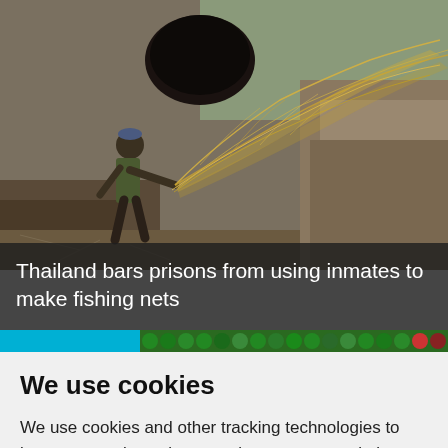[Figure (photo): A man throwing a fishing net near a tunnel opening in a dry, rocky landscape. The net is golden/orange colored and flows through the air.]
Thailand bars prisons from using inmates to make fishing nets
[Figure (photo): A horizontal strip showing a blue rectangle on the left and a green/red patterned strip on the right, appearing to be a thumbnail or banner image.]
We use cookies
We use cookies and other tracking technologies to improve your browsing experience on our website, to show you personalized content and targeted ads, to analyze our website traffic, and to understand where our visitors are coming from.